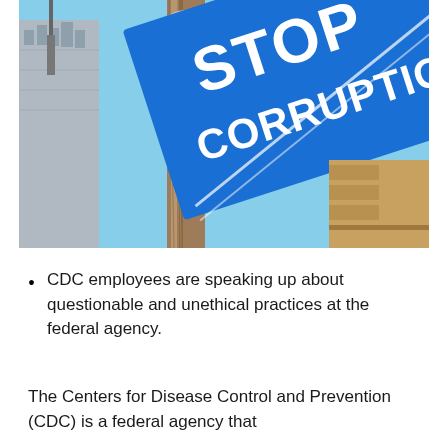[Figure (photo): Photo of a blue street sign reading 'STOP CORRUPTION' in large white bold letters, tilted at an angle, with a rusty metal pole and urban buildings visible in the background against a blue sky.]
CDC employees are speaking up about questionable and unethical practices at the federal agency.
The Centers for Disease Control and Prevention (CDC) is a federal agency that